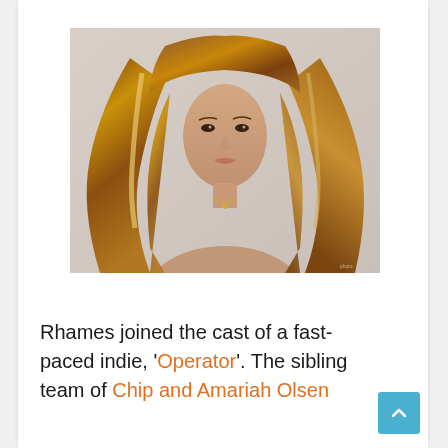[Figure (photo): Portrait photo of a woman with long auburn/brown highlighted hair, wearing a necklace, shot against a light gray background.]
Rhames joined the cast of a fast-paced indie, 'Operator'. The sibling team of Chip and Amariah Olsen